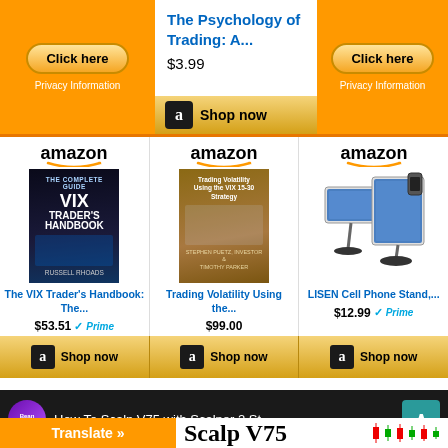[Figure (screenshot): Amazon advertisement banner with orange background. Left and right sections show 'Click here' buttons with 'Privacy Information' text. Center section on white background shows product title 'The Psychology of Trading: A...' priced at $3.99 with Amazon 'Shop now' button.]
[Figure (screenshot): Amazon product grid showing three products: 1) 'The VIX Trader's Handbook: The...' at $53.51 with Prime, 2) 'Trading Volatility Using the...' at $99.00, 3) 'LISEN Cell Phone Stand,...' at $12.99 with Prime. Each has Amazon logo, product image, title link in blue, price, and 'Shop now' button.]
[Figure (screenshot): Video thumbnail for 'How To Scalp V75 with Scalper 2 St...' from Beanfxtrader channel, showing Scalp V75 text and candlestick chart with red/green candles. Translate button visible at bottom left.]